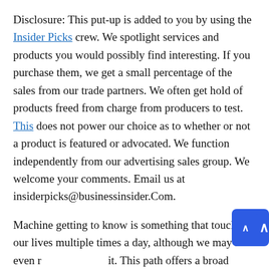Disclosure: This put-up is added to you by using the Insider Picks crew. We spotlight services and products you would possibly find interesting. If you purchase them, we get a small percentage of the sales from our trade partners. We often get hold of products freed from charge from producers to test. This does not power our choice as to whether or not a product is featured or advocated. We function independently from our advertising sales group. We welcome your comments. Email us at insiderpicks@businessinsider.Com.
Machine getting to know is something that touches our lives multiple times a day, although we may not even realize it. This path offers a broad introduction to system learning, records mining, and statistical sample reputation. Want to master a brand new ability? This direction will